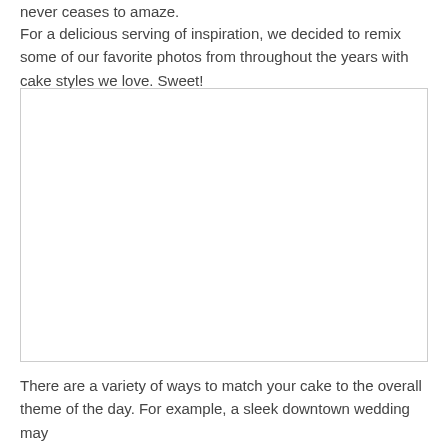never ceases to amaze.
For a delicious serving of inspiration, we decided to remix some of our favorite photos from throughout the years with cake styles we love. Sweet!
[Figure (photo): A large rectangular placeholder image with a light border, representing a photo of a wedding cake style.]
There are a variety of ways to match your cake to the overall theme of the day. For example, a sleek downtown wedding may